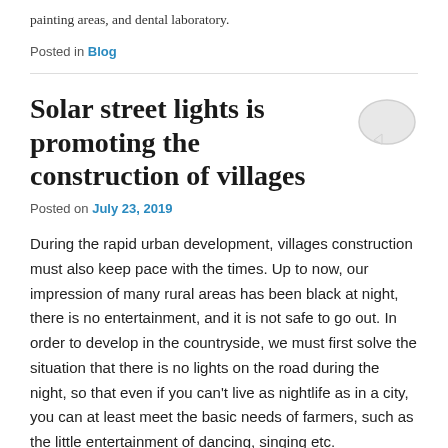painting areas, and dental laboratory.
Posted in Blog
Solar street lights is promoting the construction of villages
Posted on July 23, 2019
During the rapid urban development, villages construction must also keep pace with the times. Up to now, our impression of many rural areas has been black at night, there is no entertainment, and it is not safe to go out. In order to develop in the countryside, we must first solve the situation that there is no lights on the road during the night, so that even if you can't live as nightlife as in a city, you can at least meet the basic needs of farmers, such as the little entertainment of dancing, singing etc.